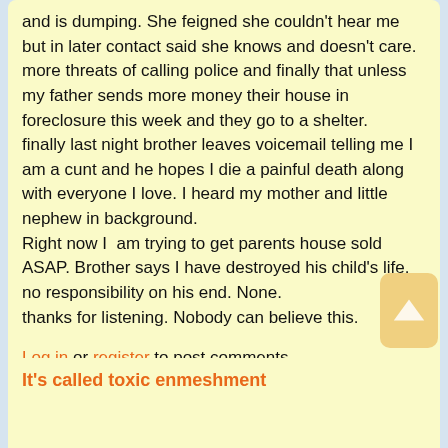and is dumping. She feigned she couldn't hear me but in later contact said she knows and doesn't care.
more threats of calling police and finally that unless my father sends more money their house in foreclosure this week and they go to a shelter.
finally last night brother leaves voicemail telling me I am a cunt and he hopes I die a painful death along with everyone I love. I heard my mother and little nephew in background.

Right now I  am trying to get parents house sold ASAP. Brother says I have destroyed his child's life.
no responsibility on his end. None.
thanks for listening. Nobody can believe this.
Log in or register to post comments
It's called toxic enmeshment